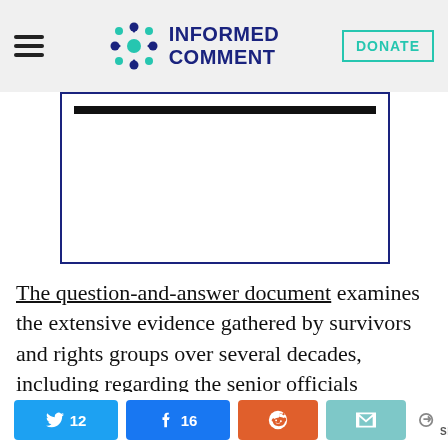INFORMED COMMENT | DONATE
[Figure (other): Advertisement placeholder box with black bar at top]
The question-and-answer document examines the extensive evidence gathered by survivors and rights groups over several decades, including regarding the senior officials implicated in overseeing these crimes, and the judicial avenues officials can take under applicable legal frameworks, including universal jurisdiction.
12 [Twitter] 16 [Facebook] [Reddit] [Email] < 28 SHARES